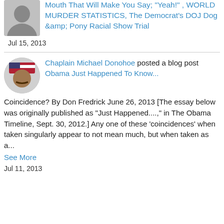Mouth That Will Make You Say; "Yeah!" , WORLD MURDER STATISTICS, The Democrat's DOJ Dog &amp; Pony Racial Show Trial
Jul 15, 2013
Chaplain Michael Donohoe posted a blog post Obama Just Happened To Know...
Coincidence? By Don Fredrick June 26, 2013 [The essay below was originally published as "Just Happened...." in The Obama Timeline, Sept. 30, 2012.] Any one of these 'coincidences' when taken singularly appear to not mean much, but when taken as a...
See More
Jul 11, 2013